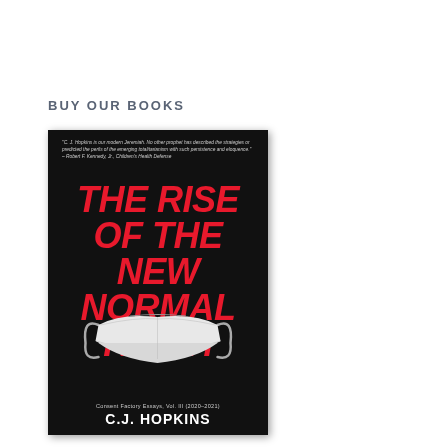BUY OUR BOOKS
[Figure (illustration): Book cover for 'The Rise of the New Normal Reich' by C.J. Hopkins. Black background with large red bold italic title text, a white surgical face mask in the lower half, a quote at the top in small white italic text, series information 'Consent Factory Essays, Vol. III (2020-2021)' in small white text near the bottom, and the author name C.J. HOPKINS in large white bold text at the bottom.]